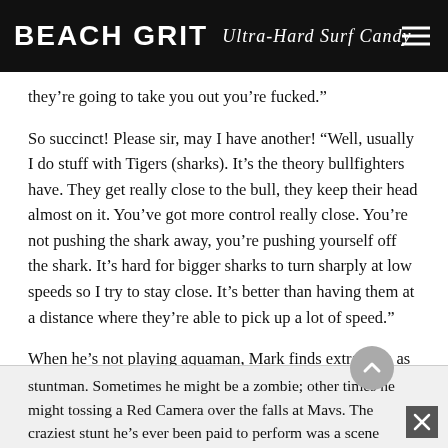BEACH GRIT Ultra-Hard Surf Candy
they’re going to take you out you’re fucked.”
So succinct! Please sir, may I have another! “Well, usually I do stuff with Tigers (sharks). It’s the theory bullfighters have. They get really close to the bull, they keep their head almost on it. You’ve got more control really close. You’re not pushing the shark away, you’re pushing yourself off the shark. It’s hard for bigger sharks to turn sharply at low speeds so I try to stay close. It’s better than having them at a distance where they’re able to pick up a lot of speed.”
When he’s not playing aquaman, Mark finds extra cash as a stuntman. Sometimes he might be a zombie; other times he might tossing a Red Camera over the falls at Mavs. The craziest stunt he’s ever been paid to perform was a scene